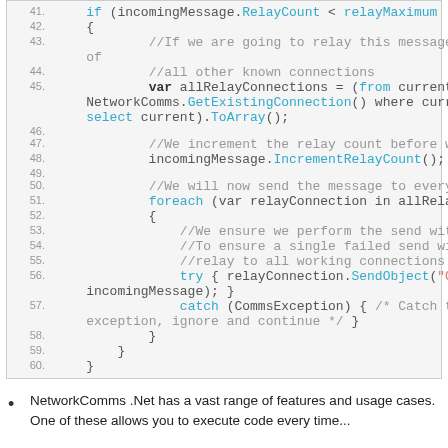[Figure (screenshot): Code snippet showing C# relay message code, lines 41-60, with line numbers, comments, keywords in cyan, and method names in cyan on a light grey background.]
NetworkComms .Net has a vast range of features and usage cases. One of these allows you to execute code every time...